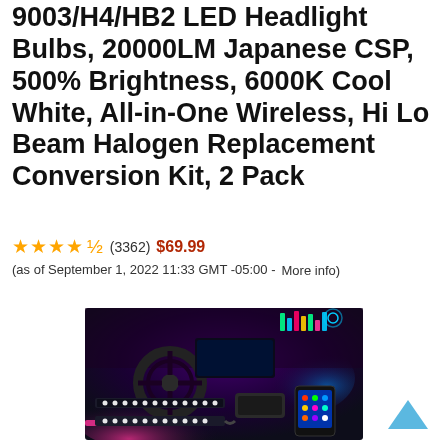9003/H4/HB2 LED Headlight Bulbs, 20000LM Japanese CSP, 500% Brightness, 6000K Cool White, All-in-One Wireless, Hi Lo Beam Halogen Replacement Conversion Kit, 2 Pack
★★★★☆ (3362) $69.99 (as of September 1, 2022 11:33 GMT -05:00 - More info)
[Figure (photo): Product photo showing car interior with colorful RGB ambient lighting and LED strip lights product set with controller and phone app]